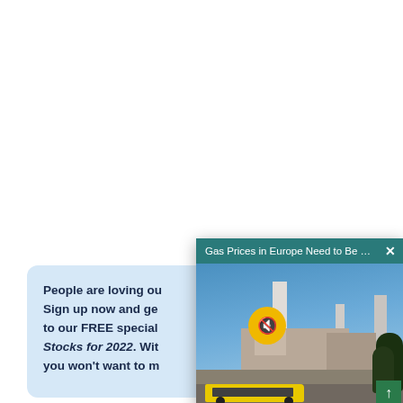[Figure (screenshot): Screenshot of a webpage with two overlapping UI elements: (1) a light blue promotional card on the left reading 'People are loving ou... Sign up now and ge... to our FREE special... Stocks for 2022. Wit... you won't want to m...' and (2) a video popup in the lower right labeled 'Gas Prices in Europe Need to Be Capped...' with an X close button, showing a photo of an industrial plant with tall chimneys, a yellow bus, and trees, with a yellow mute button overlay and a green scroll button.]
People are loving ou... Sign up now and ge... to our FREE special... Stocks for 2022. Wit... you won't want to m...